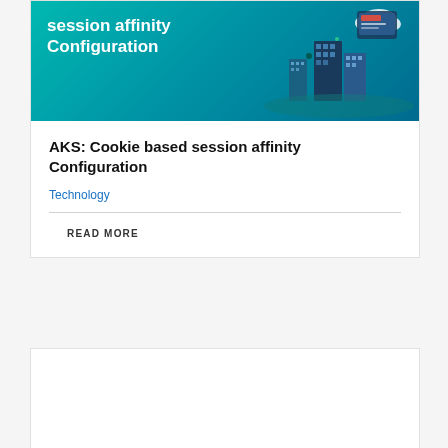[Figure (illustration): Banner image with teal/blue gradient background showing bold white text 'session affinity Configuration' on the left, and an isometric illustration of city buildings, cloud, and digital elements on the right.]
AKS: Cookie based session affinity Configuration
Technology
READ MORE